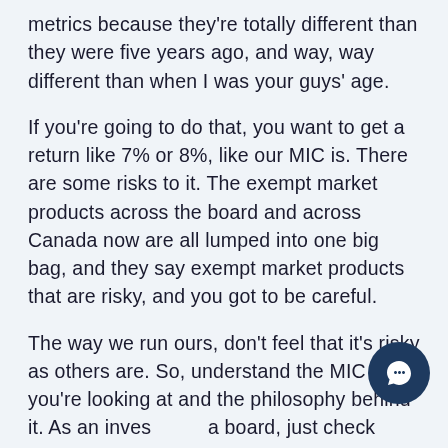metrics because they're totally different than they were five years ago, and way, way different than when I was your guys' age.
If you're going to do that, you want to get a return like 7% or 8%, like our MIC is. There are some risks to it. The exempt market products across the board and across Canada now are all lumped into one big bag, and they say exempt market products that are risky, and you got to be careful.
The way we run ours, don't feel that it's risky as others are. So, understand the MIC you're looking at and the philosophy behind it. As an inves… a board, just check around. Get some good advice from somebody who's working for you,